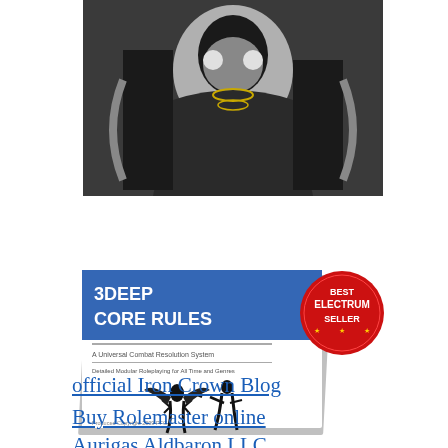[Figure (photo): Black and white high-contrast photo of a figure in metallic or reflective costume/armor, possibly a character or celebrity]
[Figure (photo): Book cover for '3DEEP CORE RULES' with a blue header, showing two silhouetted figures (one with wings, one with a gun) on a white background. A red circular 'Best Electrum Seller' badge is overlaid in the top right corner.]
official Iron Crown Blog
Buy Rolemaster online
Aurigas Aldbaron LLC
The Guild Companion